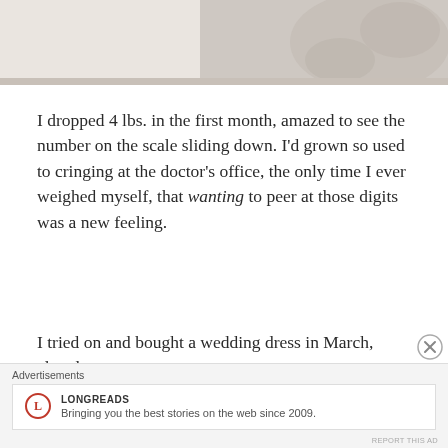[Figure (photo): Partial view of a white wedding dress with lace detail, cropped at top]
I dropped 4 lbs. in the first month, amazed to see the number on the scale sliding down. I'd grown so used to cringing at the doctor's office, the only time I ever weighed myself, that wanting to peer at those digits was a new feeling.
I tried on and bought a wedding dress in March, already 10 pounds lighter than when I'd started — but I'd have to
Advertisements
[Figure (logo): Longreads advertisement: circular L logo with text 'LONGREADS' and tagline 'Bringing you the best stories on the web since 2009.']